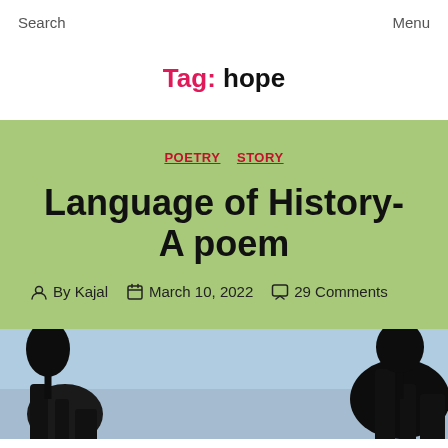Search    Menu
Tag: hope
POETRY  STORY
Language of History- A poem
By Kajal   March 10, 2022   29 Comments
[Figure (photo): Silhouette of figures against a light blue sky, partially visible at the bottom of the page]